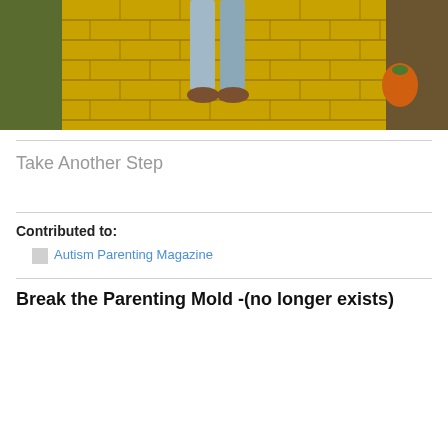[Figure (photo): Person walking on a yellow brick road path, wearing jeans and brown shoes. Autumn leaves and greenery visible on the sides. Orange object visible to the right.]
Take Another Step
Contributed to:
Autism Parenting Magazine
Break the Parenting Mold -(no longer exists)